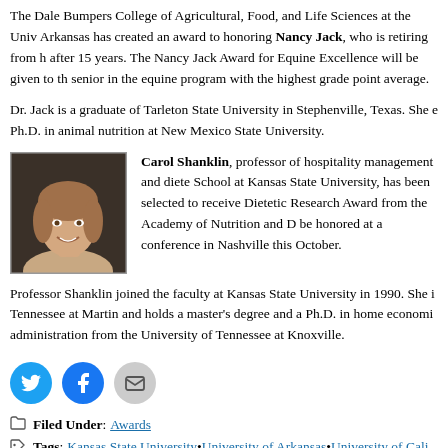The Dale Bumpers College of Agricultural, Food, and Life Sciences at the University of Arkansas has created an award to honoring Nancy Jack, who is retiring from her position after 15 years. The Nancy Jack Award for Equine Excellence will be given to the senior in the equine program with the highest grade point average.
Dr. Jack is a graduate of Tarleton State University in Stephenville, Texas. She earned a Ph.D. in animal nutrition at New Mexico State University.
[Figure (photo): Headshot photo of Carol Shanklin, a woman with short brownish hair, smiling, against a dark background.]
Carol Shanklin, professor of hospitality management and dietetics in the College of Human Ecology School at Kansas State University, has been selected to receive the Marjorie Hulsizer Copher Dietetic Research Award from the Academy of Nutrition and Dietetics. She will be honored at a conference in Nashville this October.
Professor Shanklin joined the faculty at Kansas State University in 1990. She is a graduate of Tennessee at Martin and holds a master's degree and a Ph.D. in home economics education and administration from the University of Tennessee at Knoxville.
[Figure (infographic): Social share buttons: Twitter (blue circle), Facebook (blue circle), Email (gray circle)]
Filed Under: Awards
Tags: Kansas State University • University of Arkansas • University of California